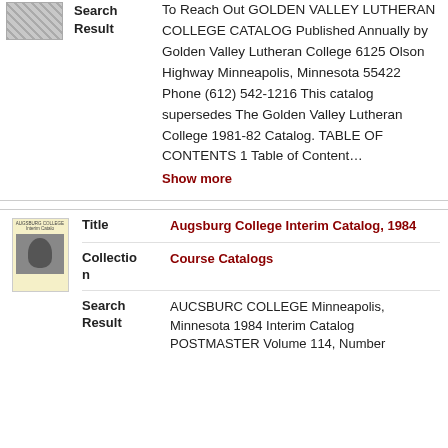Search Result: To Reach Out GOLDEN VALLEY LUTHERAN COLLEGE CATALOG Published Annually by Golden Valley Lutheran College 6125 Olson Highway Minneapolis, Minnesota 55422 Phone (612) 542-1216 This catalog supersedes The Golden Valley Lutheran College 1981-82 Catalog. TABLE OF CONTENTS 1 Table of Content... Show more
Title: Augsburg College Interim Catalog, 1984
Collection: Course Catalogs
Search Result: AUCSBURC COLLEGE Minneapolis, Minnesota 1984 Interim Catalog POSTMASTER Volume 114, Number